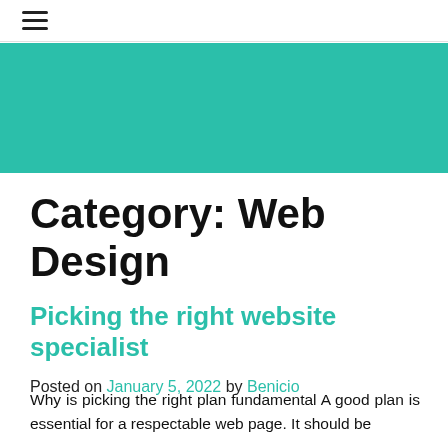≡
[Figure (other): Teal/green decorative banner strip]
Category: Web Design
Picking the right website specialist
Posted on January 5, 2022 by Benicio
Why is picking the right plan fundamental A good plan is essential for a respectable web page. It should be